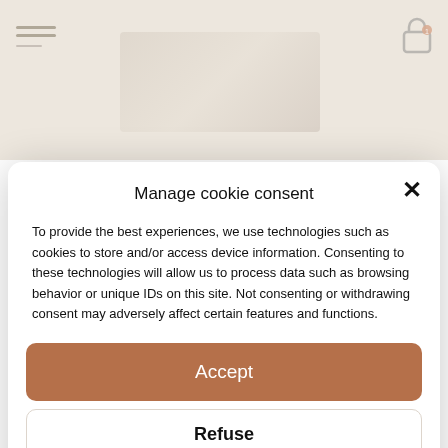[Figure (screenshot): Blurred website background showing navigation header with hamburger menu lines, a lock/cart icon top right, and a decorative center image]
Manage cookie consent
To provide the best experiences, we use technologies such as cookies to store and/or access device information. Consenting to these technologies will allow us to process data such as browsing behavior or unique IDs on this site. Not consenting or withdrawing consent may adversely affect certain features and functions.
Accept
Refuse
View preferences
English
Privacy Policy